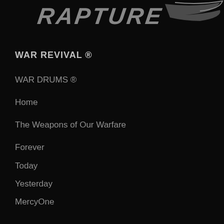[Figure (logo): RAPTURE logo text in bold italic silver/grey font on black background with swoosh/wing graphic element]
WAR REVIVAL ®
WAR DRUMS ®
Home
The Weapons of Our Warfare
Forever
Today
Yesterday
MercyOne
Giving
Miracles In The Mist